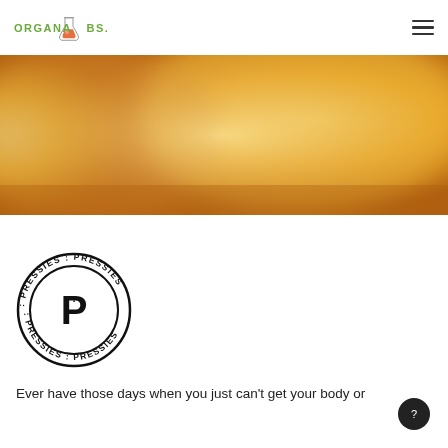ORGANA LABS
[Figure (photo): A blurred golden/amber colored background image, possibly showing cannabis concentrate or resin with warm orange and yellow tones]
[Figure (logo): Pressies circular stamp logo — a circle with ':P' in the center and 'PRESSIES' text repeated around the circumference in arc arrangement]
Ever have those days when you just can't get your body or